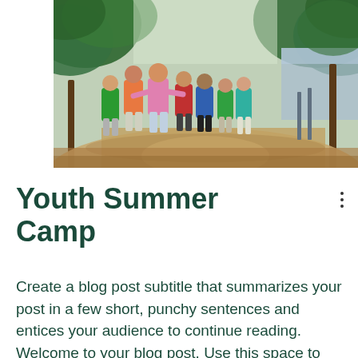[Figure (photo): Group of children running joyfully along a tree-lined path near a lake or water body. The children are wearing colorful shirts (green, pink, red, blue, teal). Trees frame the path on both sides with water visible in the background on the right.]
Youth Summer Camp
Create a blog post subtitle that summarizes your post in a few short, punchy sentences and entices your audience to continue reading. Welcome to your blog post. Use this space to connect with your readers